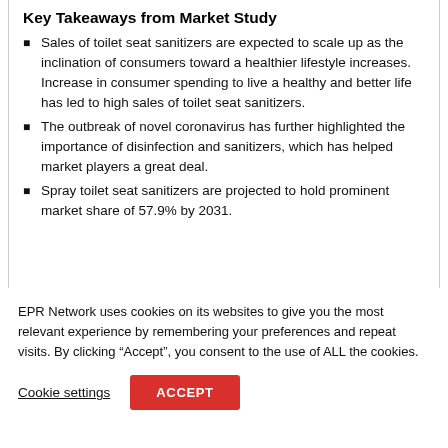Key Takeaways from Market Study
Sales of toilet seat sanitizers are expected to scale up as the inclination of consumers toward a healthier lifestyle increases. Increase in consumer spending to live a healthy and better life has led to high sales of toilet seat sanitizers.
The outbreak of novel coronavirus has further highlighted the importance of disinfection and sanitizers, which has helped market players a great deal.
Spray toilet seat sanitizers are projected to hold prominent market share of 57.9% by 2031.
EPR Network uses cookies on its websites to give you the most relevant experience by remembering your preferences and repeat visits. By clicking “Accept”, you consent to the use of ALL the cookies.
Cookie settings   ACCEPT